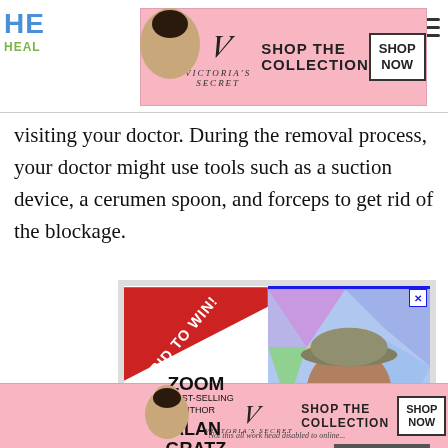HEALTH — Victoria's Secret SHOP THE COLLECTION SHOP NOW
visiting your doctor. During the removal process, your doctor might use tools such as a suction device, a cerumen spoon, and forceps to get rid of the blockage.
[Figure (infographic): Advertisement: BID TO WIN! ZOOM w/ BEST-SELLING AUTHOR ALAN GRATZ — man with hat and glasses on colorful geometric background. CLOSE button at bottom.]
Victoria's Secret SHOP THE COLLECTION SHOP NOW